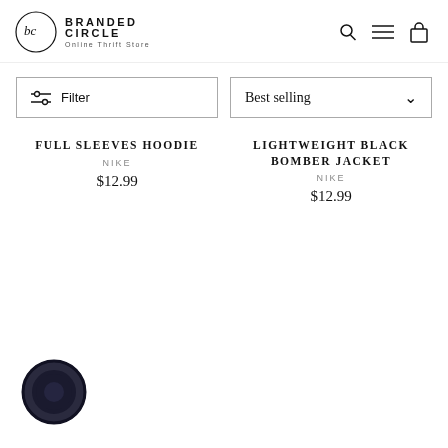[Figure (logo): Branded Circle Online Thrift Store logo with circular bc monogram and store name text]
Filter
Best selling
FULL SLEEVES HOODIE
NIKE
$12.99
LIGHTWEIGHT BLACK BOMBER JACKET
NIKE
$12.99
[Figure (illustration): Dark circular chat/messenger widget icon in bottom left corner]